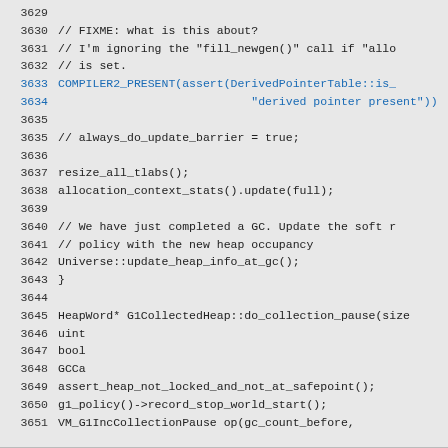Source code listing lines 3629-3654, showing C++ code for G1CollectedHeap garbage collection implementation